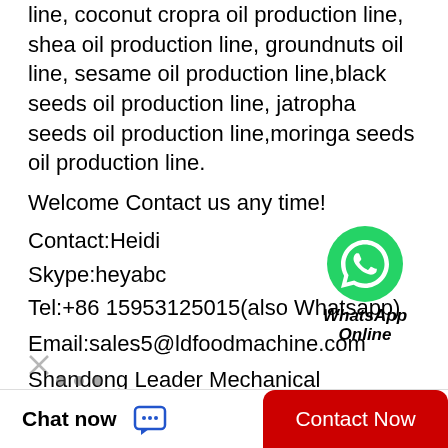line, coconut cropra oil production line, shea oil production line, groundnuts oil line, sesame oil production line,black seeds oil production line, jatropha seeds oil production line,moringa seeds oil production line.
Welcome Contact us any time!
Contact:Heidi
Skype:heyabc
Tel:+86 15953125015(also Whatsapp)
[Figure (logo): WhatsApp Online green phone icon badge with text 'WhatsApp Online']
Email:sales5@ldfoodmachine.com
Shandong Leader Mechanical Equipment Co., LTD is your LD choice!
Chat now  Contact Now